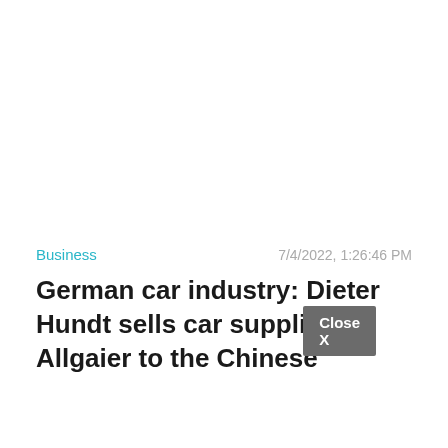Business
7/4/2022, 1:26:46 PM
German car industry: Dieter Hundt sells car supplier Allgaier to the Chinese
Close X